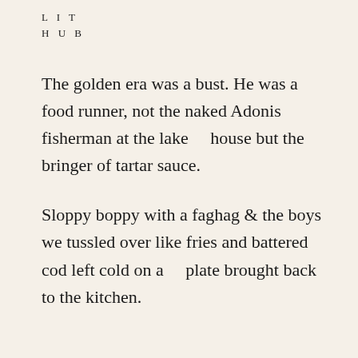LIT
HUB
The golden era was a bust. He was a food runner, not the naked Adonis fisherman at the lake    house but the bringer of tartar sauce.

Sloppy boppy with a faghag & the boys we tussled over like fries and battered cod left cold on a    plate brought back to the kitchen.